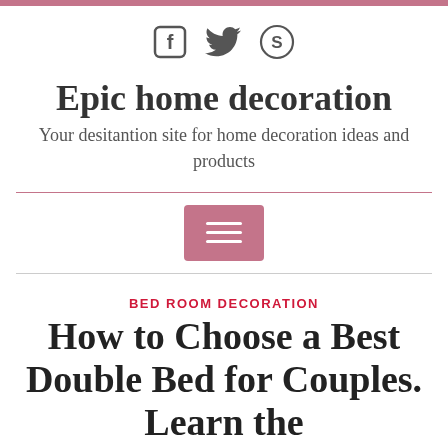[Figure (other): Social media icons: Facebook, Twitter, Skype]
Epic home decoration
Your desitantion site for home decoration ideas and products
[Figure (other): Pink hamburger menu button with three white lines]
BED ROOM DECORATION
How to Choose a Best Double Bed for Couples. Learn the